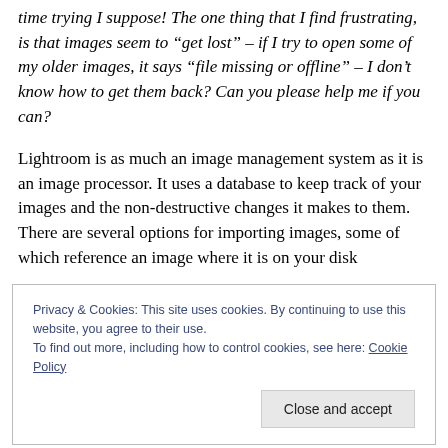time trying I suppose! The one thing that I find frustrating, is that images seem to “get lost” – if I try to open some of my older images, it says “file missing or offline” – I don’t know how to get them back? Can you please help me if you can?
Lightroom is as much an image management system as it is an image processor. It uses a database to keep track of your images and the non-destructive changes it makes to them. There are several options for importing images, some of which reference an image where it is on your disk
Privacy & Cookies: This site uses cookies. By continuing to use this website, you agree to their use.
To find out more, including how to control cookies, see here: Cookie Policy